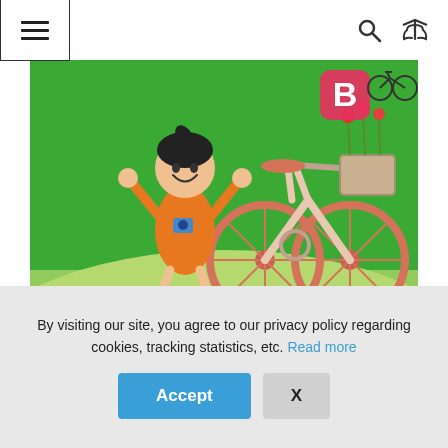☰  🔍  🔀
[Figure (illustration): Cartoon illustration of a happy girl in an orange dress with her arms raised, standing next to a pink/salmon bicycle with a flower basket, on a green background with a lighter green ground. A letter 'B' and bicycle icon appear in the upper right.]
Pick a 'word of the day', you or your child could choose it, or have your child pick it at random from a pile of word cards. If the word is a noun, look for it
By visiting our site, you agree to our privacy policy regarding cookies, tracking statistics, etc. Read more
Accept
X